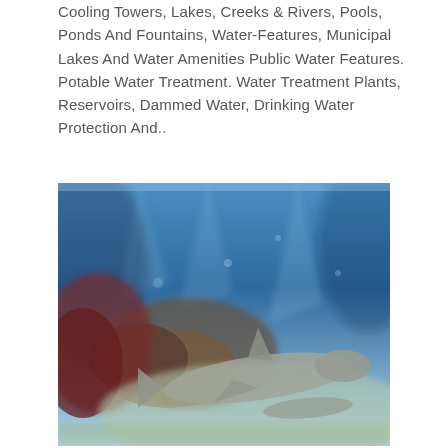Cooling Towers, Lakes, Creeks & Rivers, Pools, Ponds And Fountains, Water-Features, Municipal Lakes And Water Amenities Public Water Features. Potable Water Treatment. Water Treatment Plants, Reservoirs, Dammed Water, Drinking Water Protection And..
[Figure (photo): Underwater scene showing what appears to be a shark or large fish swimming near a reef or rocky underwater structure, with blue water and light filtering from above.]